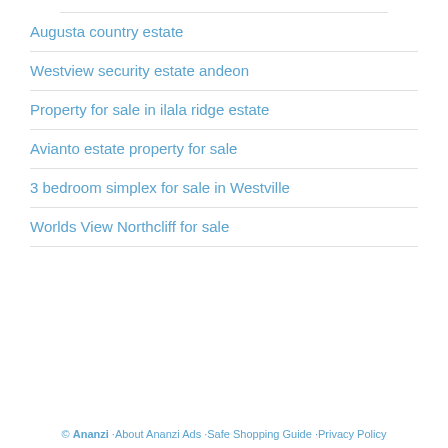Augusta country estate
Westview security estate andeon
Property for sale in ilala ridge estate
Avianto estate property for sale
3 bedroom simplex for sale in Westville
Worlds View Northcliff for sale
© Ananzi  ·About Ananzi Ads  ·Safe Shopping Guide  ·Privacy Policy